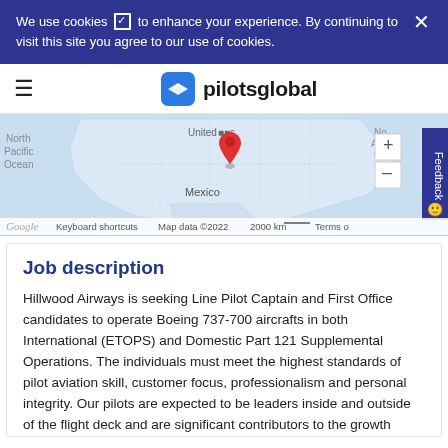We use cookies to enhance your experience. By continuing to visit this site you agree to our use of cookies.
[Figure (screenshot): Google Maps showing North America with a red pin marker over the United States]
Job description
Hillwood Airways is seeking Line Pilot Captain and First Office candidates to operate Boeing 737-700 aircrafts in both International (ETOPS) and Domestic Part 121 Supplemental Operations. The individuals must meet the highest standards of pilot aviation skill, customer focus, professionalism and personal integrity. Our pilots are expected to be leaders inside and outside of the flight deck and are significant contributors to the growth